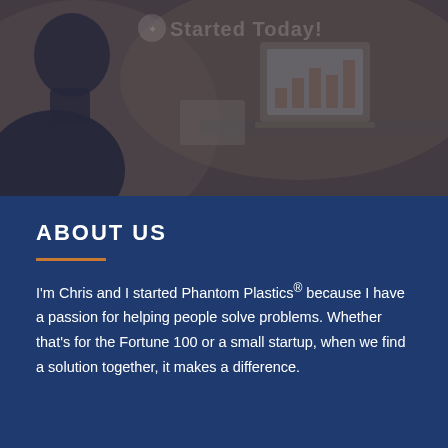[Figure (photo): A person (Chris) smiling, photographed from the side/profile, with office/computer equipment visible in the background. A dark blue overlay covers the photo. Text reading 'Started Today!' is faintly visible in the background.]
ABOUT US
I'm Chris and I started Phantom Plastics® because I have a passion for helping people solve problems. Whether that's for the Fortune 100 or a small startup, when we find a solution together, it makes a difference.